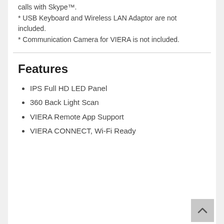calls with Skype™.
* USB Keyboard and Wireless LAN Adaptor are not included.
* Communication Camera for VIERA is not included.
Features
IPS Full HD LED Panel
360 Back Light Scan
VIERA Remote App Support
VIERA CONNECT, Wi-Fi Ready